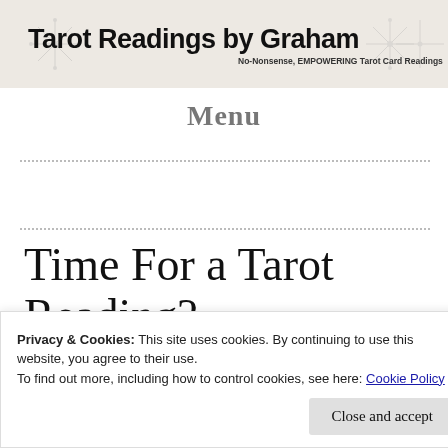[Figure (illustration): Header banner with decorative snowflake/tarot pattern background and site title 'Tarot Readings by Graham' with tagline 'No-Nonsense, EMPOWERING Tarot Card Readings']
Menu
Time For a Tarot Reading?
Privacy & Cookies: This site uses cookies. By continuing to use this website, you agree to their use.
To find out more, including how to control cookies, see here: Cookie Policy
looking for ideas or